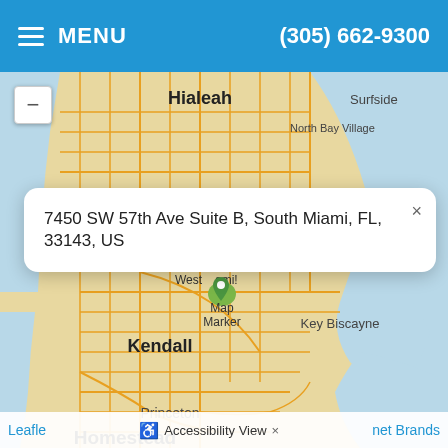MENU | (305) 662-9300
[Figure (map): Leaflet map showing Miami-Dade County area including Hialeah, Surfside, North Bay Village, West Miami, Key Biscayne, Kendall, Princeton, and Homestead. A map marker is placed near West Miami/South Miami area.]
7450 SW 57th Ave Suite B, South Miami, FL, 33143, US
Leaflet | Accessibility View | × | net Brands